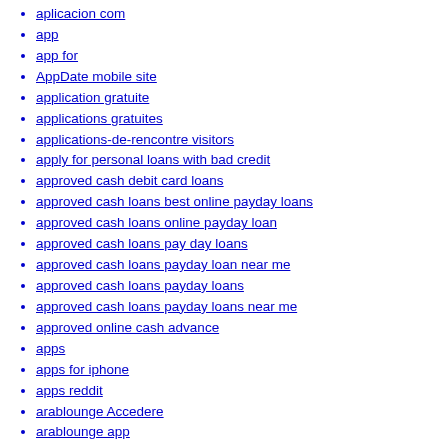aplicacion com
app
app for
AppDate mobile site
application gratuite
applications gratuites
applications-de-rencontre visitors
apply for personal loans with bad credit
approved cash debit card loans
approved cash loans best online payday loans
approved cash loans online payday loan
approved cash loans pay day loans
approved cash loans payday loan near me
approved cash loans payday loans
approved cash loans payday loans near me
approved online cash advance
apps
apps for iphone
apps reddit
arablounge Accedere
arablounge app
arablounge come funziona
arablounge como funciona
Arablounge dating